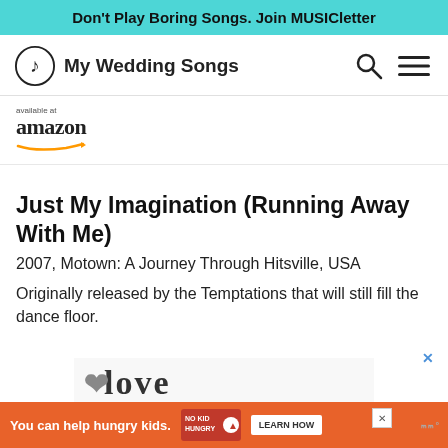Don't Play Boring Songs. Join MUSICletter
[Figure (logo): My Wedding Songs logo with musical note icon and site name]
[Figure (logo): Available at amazon badge with orange arrow]
Just My Imagination (Running Away With Me)
2007, Motown: A Journey Through Hitsville, USA
Originally released by the Temptations that will still fill the dance floor.
[Figure (photo): Partial ad image showing decorative text/logo at bottom of page]
[Figure (other): You can help hungry kids. No Kid Hungry. LEARN HOW advertisement banner]